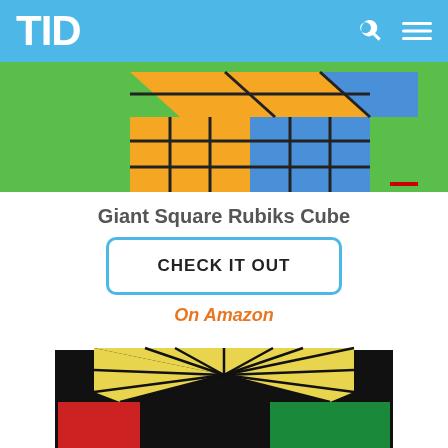TID
[Figure (photo): Top portion of a Giant Square Rubiks Cube with orange, blue, and green colored faces on a green background]
Giant Square Rubiks Cube
CHECK IT OUT
On Amazon
[Figure (photo): A flower-pattern puzzle cube with yellow top, red and green sides on a white background]